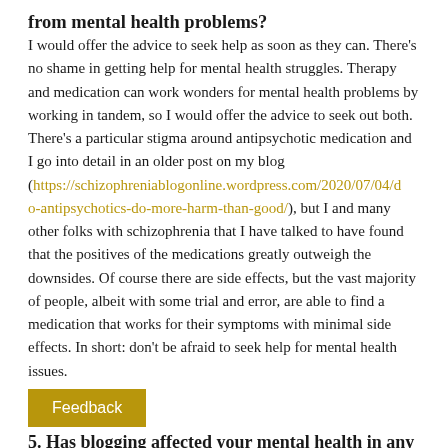from mental health problems?
I would offer the advice to seek help as soon as they can. There's no shame in getting help for mental health struggles. Therapy and medication can work wonders for mental health problems by working in tandem, so I would offer the advice to seek out both. There's a particular stigma around antipsychotic medication and I go into detail in an older post on my blog (https://schizophreniablogonline.wordpress.com/2020/07/04/do-antipsychotics-do-more-harm-than-good/), but I and many other folks with schizophrenia that I have talked to have found that the positives of the medications greatly outweigh the downsides. Of course there are side effects, but the vast majority of people, albeit with some trial and error, are able to find a medication that works for their symptoms with minimal side effects. In short: don't be afraid to seek help for mental health issues.
Feedback
5. Has blogging affected your mental health in any way-